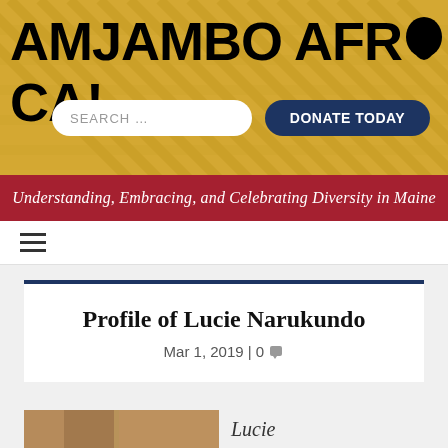[Figure (logo): Amjambo Africa! website header with gold diagonal-stripe background, bold black logo text reading AMJAMBO AFRICA!, a search box, and a Donate Today button]
Understanding, Embracing, and Celebrating Diversity in Maine
Profile of Lucie Narukundo
Mar 1, 2019 | 0
[Figure (photo): Partial photo strip at bottom showing Lucie with text 'Lucie' visible]